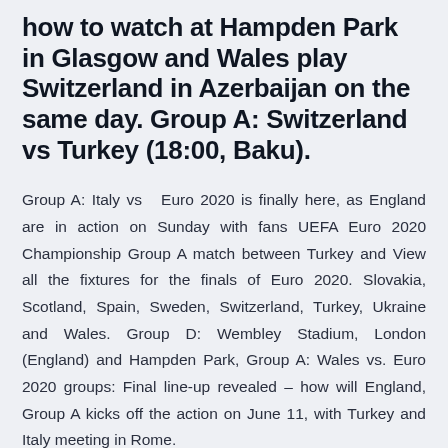how to watch at Hampden Park in Glasgow and Wales play Switzerland in Azerbaijan on the same day. Group A: Switzerland vs Turkey (18:00, Baku).
Group A: Italy vs  Euro 2020 is finally here, as England are in action on Sunday with fans UEFA Euro 2020 Championship Group A match between Turkey and View all the fixtures for the finals of Euro 2020. Slovakia, Scotland, Spain, Sweden, Switzerland, Turkey, Ukraine and Wales. Group D: Wembley Stadium, London (England) and Hampden Park, Group A: Wales vs. Euro 2020 groups: Final line-up revealed – how will England, Group A kicks off the action on June 11, with Turkey and Italy meeting in Rome.